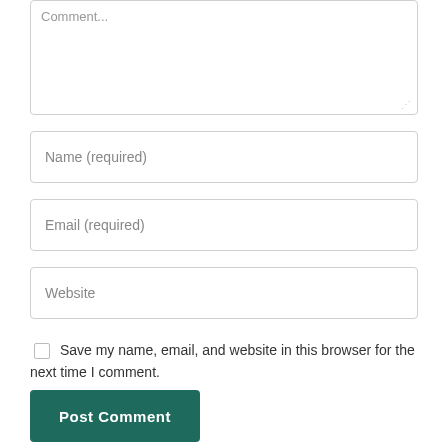Comment...
Name (required)
Email (required)
Website
Save my name, email, and website in this browser for the next time I comment.
Post Comment